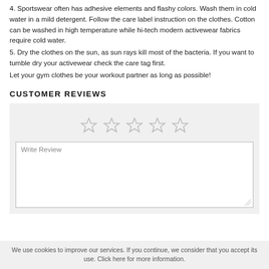4. Sportswear often has adhesive elements and flashy colors. Wash them in cold water in a mild detergent. Follow the care label instruction on the clothes. Cotton can be washed in high temperature while hi-tech modern activewear fabrics require cold water.
5. Dry the clothes on the sun, as sun rays kill most of the bacteria. If you want to tumble dry your activewear check the care tag first.
Let your gym clothes be your workout partner as long as possible!
CUSTOMER REVIEWS
[Figure (other): Five empty star rating icons arranged horizontally in a light gray box above a 'Write Review' text area input field with a resize handle in the bottom right corner.]
We use cookies to improve our services. If you continue, we consider that you accept its use. Click here for more information.